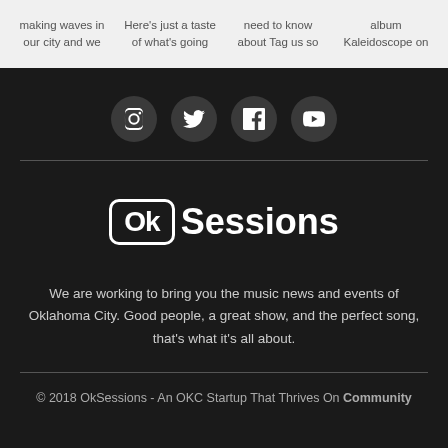making waves in our city and we  Here's just a taste of what's going  need to know about Tag us so  album Kaleidoscope on
[Figure (infographic): Four social media icons in dark circular buttons: Instagram, Twitter, Facebook, YouTube]
[Figure (logo): OkSessions logo: 'Ok' in a rounded rectangle box followed by 'Sessions' in bold white text on dark background]
We are working to bring you the music news and events of Oklahoma City. Good people, a great show, and the perfect song, that's what it's all about.
© 2018 OkSessions - An OKC Startup That Thrives On Community